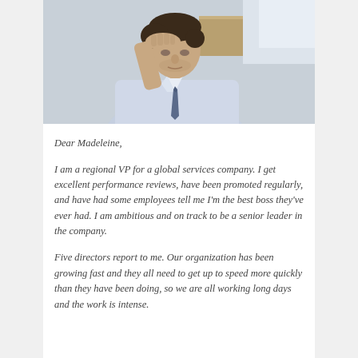[Figure (photo): A young man in a white dress shirt and blue tie, sitting at a desk with his hand on his forehead in a stressed or worried pose, looking downward. Background is blurred office or indoor setting.]
Dear Madeleine,
I am a regional VP for a global services company. I get excellent performance reviews, have been promoted regularly, and have had some employees tell me I'm the best boss they've ever had. I am ambitious and on track to be a senior leader in the company.
Five directors report to me. Our organization has been growing fast and they all need to get up to speed more quickly than they have been doing, so we are all working long days and the work is intense.